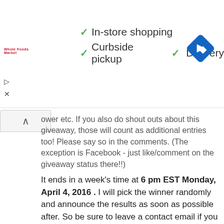[Figure (screenshot): Advertisement banner for Whole Foods Market showing checkmarks for In-store shopping, Curbside pickup, and Delivery, with a blue navigation diamond icon on the right]
ower etc. If you also do shout outs about this giveaway, those will count as additional entries too! Please say so in the comments. (The exception is Facebook - just like/comment on the giveaway status there!!)
It ends in a week's time at 6 pm EST Monday, April 4, 2016 . I will pick the winner randomly and announce the results as soon as possible after. So be sure to leave a contact email if you don't have an online link or make sure you come back and check! Otherwise I will redraw in a week. Good luck!
Disclosure
I receive books and products for review.  I do receive